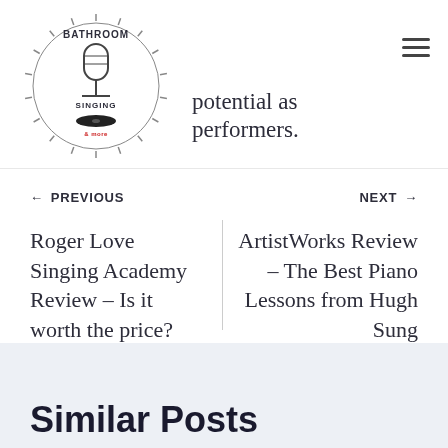Bathroom Singing logo
potential as performers.
← PREVIOUS
Roger Love Singing Academy Review – Is it worth the price?
NEXT →
ArtistWorks Review – The Best Piano Lessons from Hugh Sung
Similar Posts